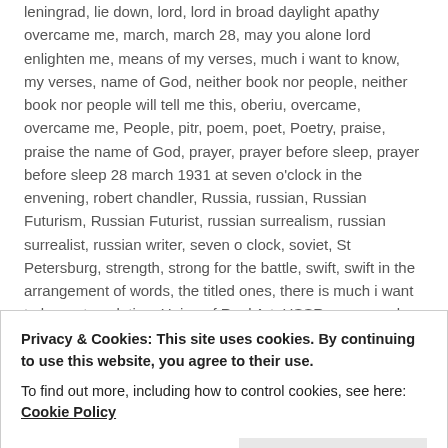leningrad, lie down, lord, lord in broad daylight apathy overcame me, march, march 28, may you alone lord enlighten me, means of my verses, much i want to know, my verses, name of God, neither book nor people, neither book nor people will tell me this, oberiu, overcame, overcame me, People, pitr, poem, poet, Poetry, praise, praise the name of God, prayer, prayer before sleep, prayer before sleep 28 march 1931 at seven o'clock in the envening, robert chandler, Russia, russian, Russian Futurism, Russian Futurist, russian surrealism, russian surrealist, russian writer, seven o clock, soviet, St Petersburg, strength, strong for the battle, swift, swift in the arrangement of words, the titled ones, there is much i want to know, translation, Union of Real Art, USSR, verse, wake me, wake me strong for the battle with meaning, while i sleep, while i sleep fill me, while i sleep fill me lord with your strength, will tell me this, you alone lord, your strength, Yuvatchov, zealous, zealous to praise the name of god
Leave a comment
Privacy & Cookies: This site uses cookies. By continuing to use this website, you agree to their use. To find out more, including how to control cookies, see here: Cookie Policy
Close and accept